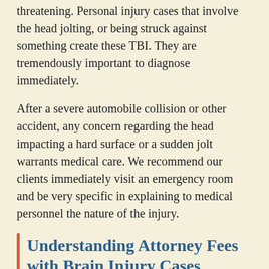threatening.  Personal injury cases that involve the head jolting, or being struck against something create these TBI.  They are tremendously important to diagnose immediately.
After a severe automobile collision or other accident, any concern regarding the head impacting a hard surface or a sudden jolt warrants medical care.  We recommend our clients immediately visit an emergency room and be very specific in explaining to medical personnel the nature of the injury.
Understanding Attorney Fees with Brain Injury Cases
There are no upfront attorney fees.  We work on a “contingency fee basis”, which means we collect our fee as a percentage of the settlement if we win the